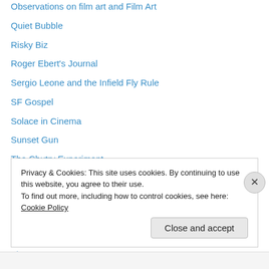Observations on film art and Film Art
Quiet Bubble
Risky Biz
Roger Ebert's Journal
Sergio Leone and the Infield Fly Rule
SF Gospel
Solace in Cinema
Sunset Gun
The Chutry Experiment
The Cinematic Art
The Evening Class
The Flick Filosopher
The Hot Blog
The House Next Door
Privacy & Cookies: This site uses cookies. By continuing to use this website, you agree to their use.
To find out more, including how to control cookies, see here: Cookie Policy